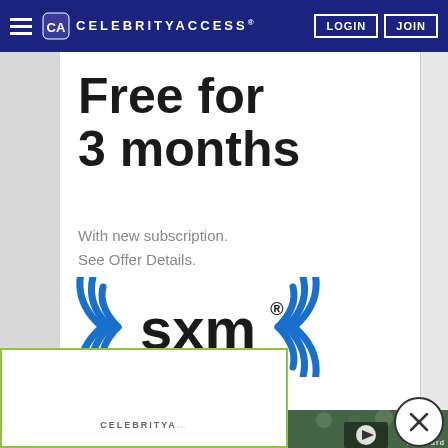CELEBRITYACCESS® — LOGIN | JOIN
[Figure (screenshot): SiriusXM advertisement: 'Free for 3 months. With new subscription. See Offer Details.' with SXM logo, device icons (car, tablet, laptop, house), and a 'START LISTENING' blue button.]
[Figure (photo): Video overlay showing a crowd at an outdoor event, person in foreground wearing a hat, with a play button overlay. Billboard logo visible.]
[Figure (screenshot): Bottom partial view of another CelebrityAccess content box with green border.]